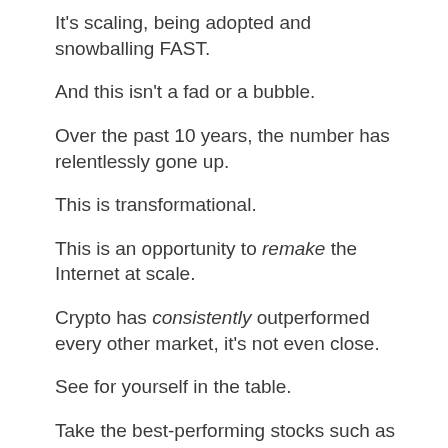It's scaling, being adopted and snowballing FAST.
And this isn't a fad or a bubble.
Over the past 10 years, the number has relentlessly gone up.
This is transformational.
This is an opportunity to remake the Internet at scale.
Crypto has consistently outperformed every other market, it's not even close.
See for yourself in the table.
Take the best-performing stocks such as Apple, Google and Netflix and you're only into the thousands.